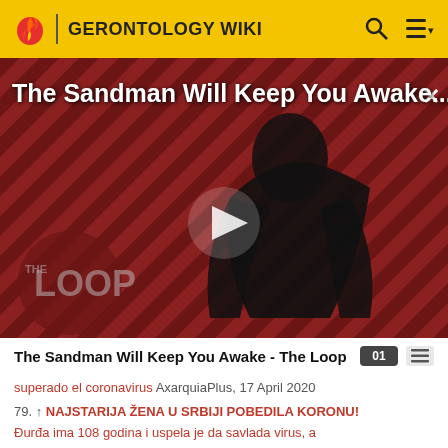GERONTOLOGY WIKI
[Figure (screenshot): Video thumbnail for 'The Sandman Will Keep You Awake...' showing a figure in black cape against red and black diagonal striped background, with THE LOOP logo watermark and a play button in the center. Close (X) button top right.]
The Sandman Will Keep You Awake - The Loop
superado el coronavirus AxarquiaPlus, 17 April 2020
79. ↑ NAJSTARIJA ŽENA U SRBIJI POBEDILA KORONU! Đurđa ima 108 godina i uspela je da savlada virus, a